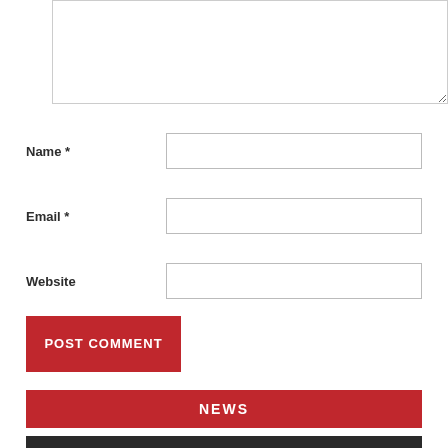[Figure (screenshot): Comment textarea input box at top of page]
Name *
[Figure (screenshot): Name input field]
Email *
[Figure (screenshot): Email input field]
Website
[Figure (screenshot): Website input field]
POST COMMENT
NEWS
[Figure (photo): Photo strip at bottom of page]